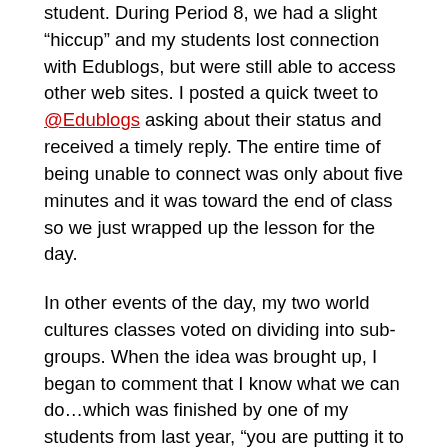student.  During Period 8, we had a slight “hiccup” and my students lost connection with Edublogs, but were still able to access other web sites.  I posted a quick tweet to @Edublogs asking about their status and received a timely reply.  The entire time of being unable to connect was only about five minutes and it was toward the end of class so we just wrapped up the lesson for the day.
In other events of the day, my two world cultures classes voted on dividing into sub-groups.  When the idea was brought up, I began to comment that I know what we can do…which was finished by one of my students from last year, “you are putting it to a vote with a poll.”  Some of my students know me and Edmodo rather well.  The results of the poll will appear later in this post.  Just as a note they were given the option of staying in one group or splitting since they are not an overwhelming number of students.
I have one class, a period 2 20th Century U.S. History class that is one day behind everyone else due to Junior class meetings on Monday.  They were almost caught up by the end